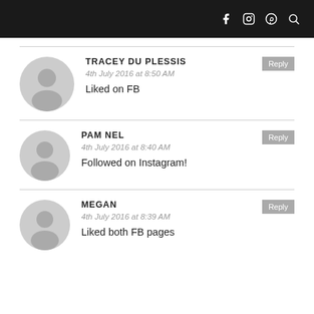Social media icons: Facebook, Instagram, Pinterest, Search
TRACEY DU PLESSIS
4th July 2016 at 8:50 AM
Liked on FB
PAM NEL
4th July 2016 at 8:40 AM
Followed on Instagram!
MEGAN
4th July 2016 at 8:39 AM
Liked both FB pages